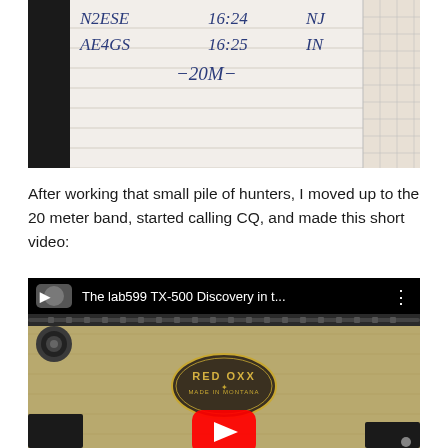[Figure (photo): Photo of a handwritten amateur radio log notebook. Text visible: 'N2ESE  16:24  NJ' and 'AE4GS  16:25  IN' and '-20M-'. Lined paper with a grid section on the right side.]
After working that small pile of hunters, I moved up to the 20 meter band, started calling CQ, and made this short video:
[Figure (screenshot): YouTube video thumbnail showing a tan/olive colored bag (Red Oxx brand with badge visible) with a zipper. The video title bar reads 'The lab599 TX-500 Discovery in t...' and a YouTube play button is visible in the lower center.]